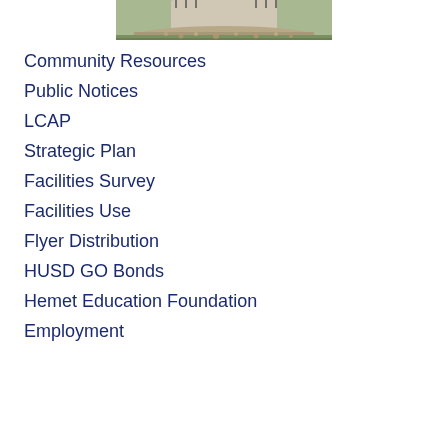[Figure (photo): Partial view of a stone or concrete monument/sign structure on grass with gravel base, photographed outdoors]
Community Resources
Public Notices
LCAP
Strategic Plan
Facilities Survey
Facilities Use
Flyer Distribution
HUSD GO Bonds
Hemet Education Foundation
Employment